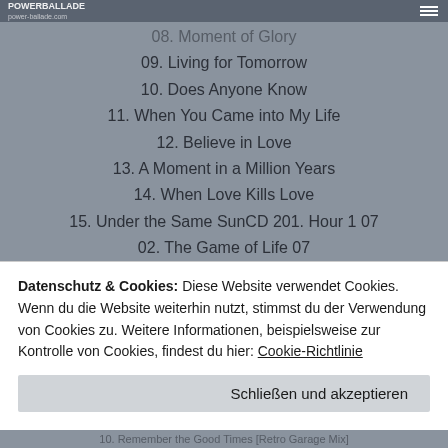POWERBALLADE (logo/site header)
08. Moment of Glory
09. Living for Tomorrow
10. Does Anyone Know
11. When You Came into My Life
12. Believe in Love
13. A Moment in a Million Years
14. When Love Kills Love
15. Under the Same SunCD 201. Hour 1 07
02. The Game of Life 07
03. Don't Believe Her
04. No One Like You
05. Rock You Like a Hurricane
06. Blackout
07. Bad Boys Running Wild
08. Can't Live Without You
09. The Zoo
Datenschutz & Cookies: Diese Website verwendet Cookies. Wenn du die Website weiterhin nutzt, stimmst du der Verwendung von Cookies zu. Weitere Informationen, beispielsweise zur Kontrolle von Cookies, findest du hier: Cookie-Richtlinie
Schließen und akzeptieren
10. Remember the Good Times [Retro Garage Mix]